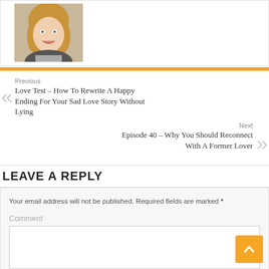[Figure (photo): Headshot of a blonde woman smiling, portrait orientation]
Previous
Love Test – How To Rewrite A Happy Ending For Your Sad Love Story Without Lying
Next
Episode 40 – Why You Should Reconnect With A Former Lover
LEAVE A REPLY
Your email address will not be published. Required fields are marked *
Comment